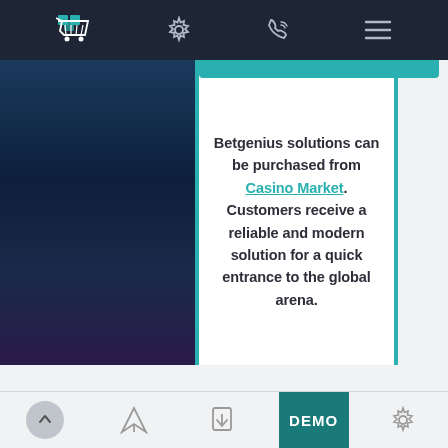[Figure (screenshot): Top navigation bar with dark background (#1e2535) containing a cart icon, settings gear icon, phone/contact icon, and hamburger menu icon]
Betgenius solutions can be purchased from Casino Market. Customers receive a reliable and modern solution for a quick entrance to the global arena.
[Figure (screenshot): Bottom navigation bar with icons: up arrow (circular), paper airplane, download/file icon, DEMO button (teal background), and settings gear icon]